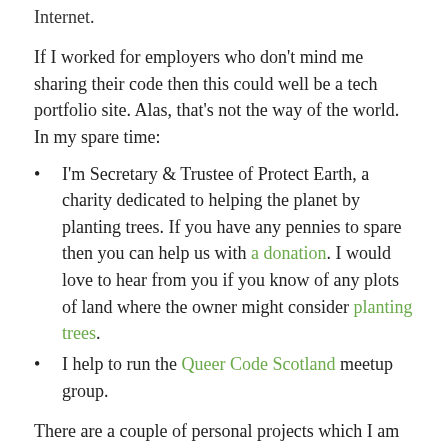Internet.
If I worked for employers who don't mind me sharing their code then this could well be a tech portfolio site. Alas, that's not the way of the world. In my spare time:
I'm Secretary & Trustee of Protect Earth, a charity dedicated to helping the planet by planting trees. If you have any pennies to spare then you can help us with a donation. I would love to hear from you if you know of any plots of land where the owner might consider planting trees.
I help to run the Queer Code Scotland meetup group.
There are a couple of personal projects which I am able to share:
1. I built a twitter bot.
2. The second is called datapeek. Sometimes I encounter data files (especially in parquet and avro) and I just want to have a peek at what's inside. This command line tool makes that a bit easier. It's not quite polished enough to be ready for public consumption yet but it's already